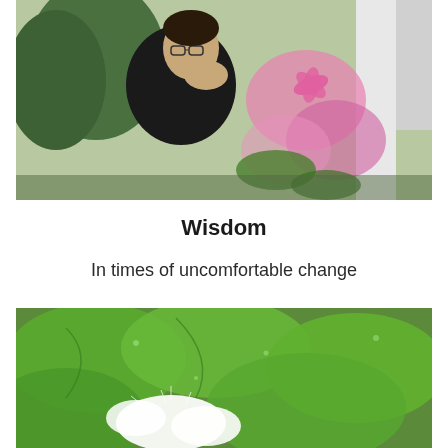[Figure (photo): A person wearing glasses and a black top, with hand raised near their mouth, standing outdoors near pink flowers (likely clematis) and a white structure, with green trees in the background.]
Wisdom
In times of uncomfortable change
[Figure (photo): Close-up of large green leaves with water droplets, and a white fluffy substance (possibly a white flower or seed fluff) in the lower portion of the frame.]